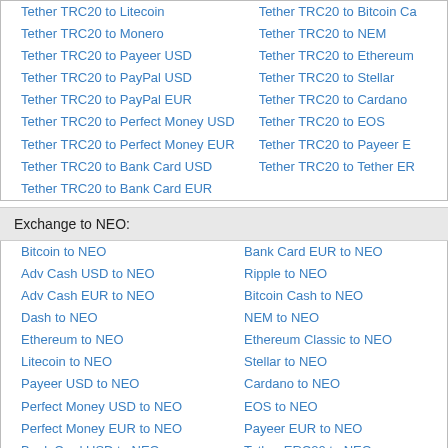Tether TRC20 to Litecoin
Tether TRC20 to Monero
Tether TRC20 to Payeer USD
Tether TRC20 to PayPal USD
Tether TRC20 to PayPal EUR
Tether TRC20 to Perfect Money USD
Tether TRC20 to Perfect Money EUR
Tether TRC20 to Bank Card USD
Tether TRC20 to Bank Card EUR
Tether TRC20 to Bitcoin Ca...
Tether TRC20 to NEM
Tether TRC20 to Ethereum
Tether TRC20 to Stellar
Tether TRC20 to Cardano
Tether TRC20 to EOS
Tether TRC20 to Payeer E...
Tether TRC20 to Tether ER...
Exchange to NEO:
Bitcoin to NEO
Adv Cash USD to NEO
Adv Cash EUR to NEO
Dash to NEO
Ethereum to NEO
Litecoin to NEO
Payeer USD to NEO
Perfect Money USD to NEO
Perfect Money EUR to NEO
Bank Card USD to NEO
Bank Card EUR to NEO
Ripple to NEO
Bitcoin Cash to NEO
NEM to NEO
Ethereum Classic to NEO
Stellar to NEO
Cardano to NEO
EOS to NEO
Payeer EUR to NEO
Tether ERC20 to NEO
Information about system Tether
Founded in March 2014, Tether is the world's first platform to offer the joint benefits of th... and traditional currency, by converting cash into a stable digital currency equivalent. Teth... allow all Bitcoin companies and individuals to transact with stable digital currency as if it...